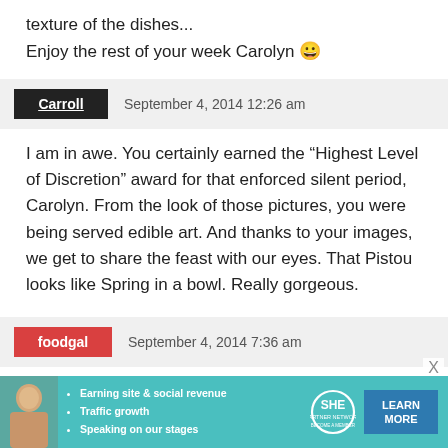texture of the dishes...
Enjoy the rest of your week Carolyn 😀
Carroll  September 4, 2014 12:26 am
I am in awe. You certainly earned the “Highest Level of Discretion” award for that enforced silent period, Carolyn. From the look of those pictures, you were being served edible art. And thanks to your images, we get to share the feast with our eyes. That Pistou looks like Spring in a bowl. Really gorgeous.
foodgal  September 4, 2014 7:36 am
Tami: I always feel like El Bulli is the “one that got away.
[Figure (other): Advertisement banner for SHE Partner Network with photo of woman, bullet points: Earning site & social revenue, Traffic growth, Speaking on our stages, SHE logo, LEARN MORE button]